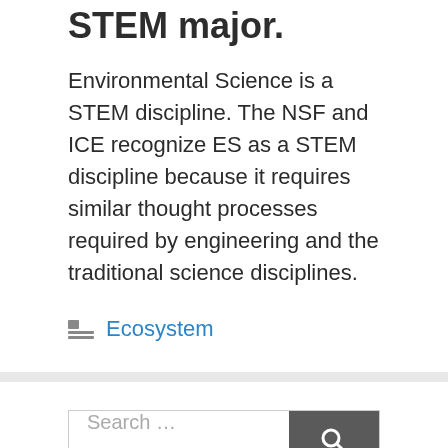STEM major.
Environmental Science is a STEM discipline. The NSF and ICE recognize ES as a STEM discipline because it requires similar thought processes required by engineering and the traditional science disciplines.
Ecosystem
Search …
About me